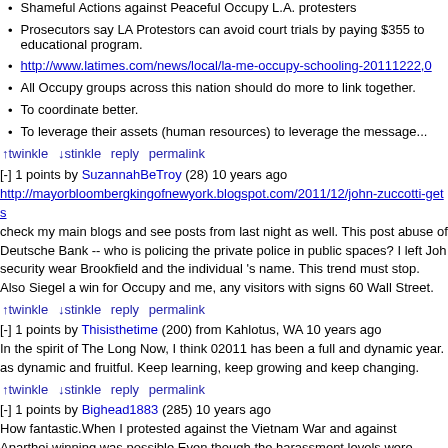Shameful Actions against Peaceful Occupy L.A. protesters
Prosecutors say LA Protestors can avoid court trials by paying $355 to educational program.
http://www.latimes.com/news/local/la-me-occupy-schooling-20111222,0
All Occupy groups across this nation should do more to link together.
To coordinate better.
To leverage their assets (human resources) to leverage the message...
↑twinkle ↓stinkle reply permalink
[-] 1 points by SuzannahBeTroy (28) 10 years ago
http://mayorbloombergkingofnewyork.blogspot.com/2011/12/john-zuccotti-gets check my main blogs and see posts from last night as well. This post abuse of Deutsche Bank -- who is policing the private police in public spaces? I left Joh security wear Brookfield and the individual 's name. This trend must stop. Also Siegel a win for Occupy and me, any visitors with signs 60 Wall Street.
↑twinkle ↓stinkle reply permalink
[-] 1 points by Thisisthetime (200) from Kahlotus, WA 10 years ago
In the spirit of The Long Now, I think 02011 has been a full and dynamic year. as dynamic and fruitful. Keep learning, keep growing and keep changing.
↑twinkle ↓stinkle reply permalink
[-] 1 points by Bighead1883 (285) 10 years ago
How fantastic.When I protested against the Vietnam War and against Aparthei winning was possible.Even though the harassment levels were totally vulgar b believed that WE would win.AND SO WE DID.Now I see again that the dispari